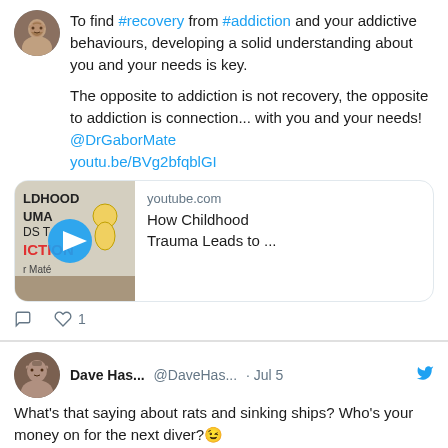To find #recovery from #addiction and your addictive behaviours, developing a solid understanding about you and your needs is key.

The opposite to addiction is not recovery, the opposite to addiction is connection... with you and your needs! @DrGaborMate youtu.be/BVg2bfqblGI
[Figure (screenshot): YouTube link card thumbnail showing 'How Childhood Trauma Leads to Addiction' book cover with play button overlay]
youtube.com
How Childhood Trauma Leads to ...
Dave Has... @DaveHas... · Jul 5
What's that saying about rats and sinking ships? Who's your money on for the next diver? 😉